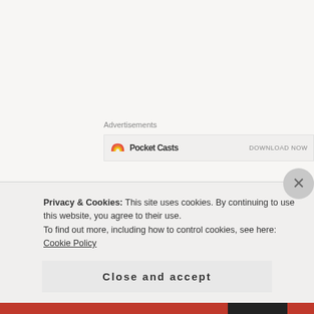Advertisements
[Figure (other): Partial advertisement banner with rainbow icon and truncated text, showing 'DOWNLOAD NOW' partially visible]
[Figure (illustration): Avatar of a cartoon purple cat/fox character sitting on and reading an open green book]
Dani @ Perspective of a Writer
JUNE 1, 2018 AT 11:27 AM
It’s so great you realized you are a POC! I read a ton about the American Indians when I was a kid. I loved those books! ❤ Its a rough period in American History because yeah, a
Privacy & Cookies: This site uses cookies. By continuing to use this website, you agree to their use.
To find out more, including how to control cookies, see here: Cookie Policy
Close and accept